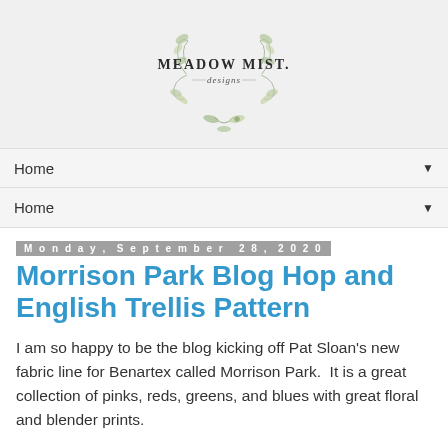[Figure (logo): Meadow Mist Designs logo with botanical wreath and script text]
Home ▼
Home ▼
Monday, September 28, 2020
Morrison Park Blog Hop and English Trellis Pattern
I am so happy to be the blog kicking off Pat Sloan's new fabric line for Benartex called Morrison Park.  It is a great collection of pinks, reds, greens, and blues with great floral and blender prints.
Hint, hint - this post is long but there may be a super